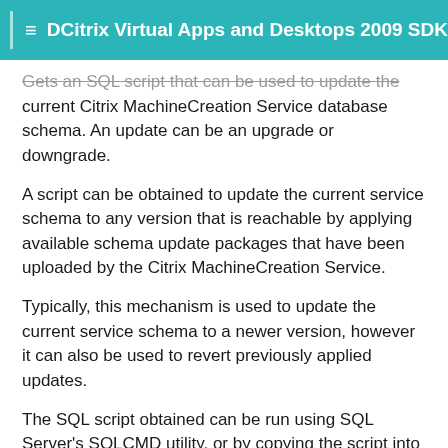≡  Citrix Virtual Apps and Desktops 2009 SDK D
Gets an SQL script that can be used to update the current Citrix MachineCreation Service database schema. An update can be an upgrade or downgrade.
A script can be obtained to update the current service schema to any version that is reachable by applying available schema update packages that have been uploaded by the Citrix MachineCreation Service.
Typically, this mechanism is used to update the current service schema to a newer version, however it can also be used to revert previously applied updates.
The SQL script obtained can be run using SQL Server's SQLCMD utility, or by copying the script into an SQL Server Management Studio (SSMS) query window and executing the query. If using SSMS, the query must be